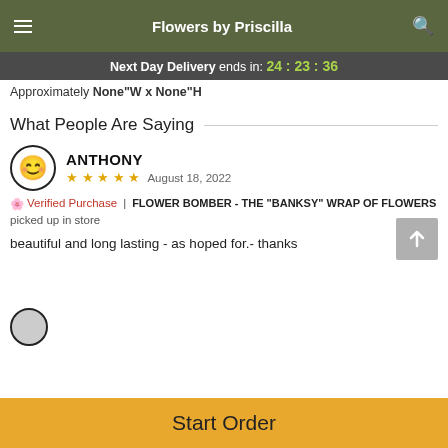Flowers by Priscilla
Next Day Delivery ends in: 24:23:36
Approximately None"W x None"H
What People Are Saying
ANTHONY
★★★★★  August 18, 2022
Verified Purchase | FLOWER BOMBER - THE "BANKSY" WRAP OF FLOWERS picked up in store
beautiful and long lasting - as hoped for.- thanks
Start Order